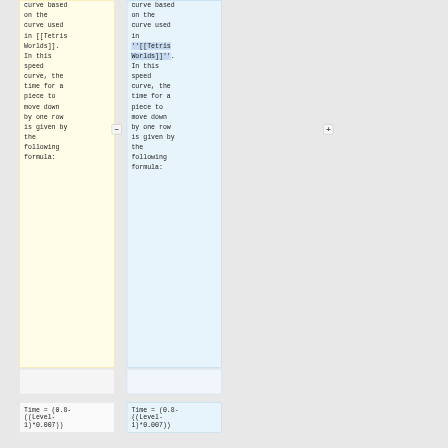curve based on the curve used in [[Tetris Worlds]]. In this speed curve, the time for a piece to move down by one row is given by the following formula:
curve based on the curve used in ''[[Tetris Worlds]]''. In this speed curve, the time for a piece to move down by one row is given by the following formula:
Time = (0.8-((Level-1)*0.007))
Time = (0.8-((Level-1)*0.007))